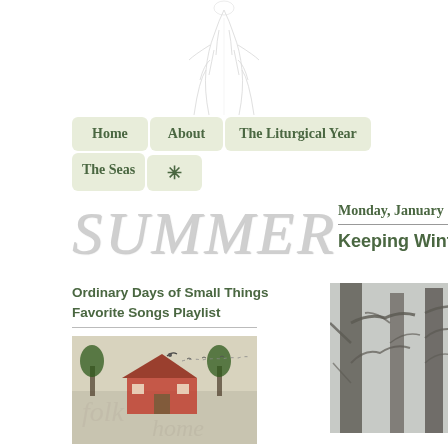[Figure (illustration): Faint pencil sketch of a figure (likely a woman or saint) visible at the top of the page, partially cropped]
Home | About | The Liturgical Year | The Seas | *
[Figure (illustration): Large light gray italic text reading SUMMER in the left-center area of the page]
Monday, January 13, 2
Keeping Winter
Ordinary Days of Small Things
Favorite Songs Playlist
[Figure (illustration): Thumbnail image area showing a faint folksy painting of a house with trees; a bird motif is visible]
[Figure (photo): Photograph of bare winter trees against a gray sky, cropped on the right side]